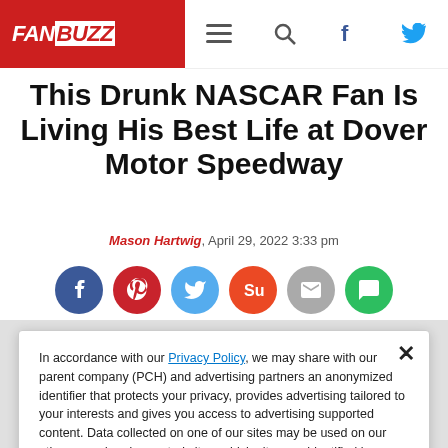FAN BUZZ
This Drunk NASCAR Fan Is Living His Best Life at Dover Motor Speedway
Mason Hartwig, April 29, 2022 3:33 pm
[Figure (other): Social sharing buttons: Facebook, Pinterest, Twitter, StumbleUpon, Email, Message]
In accordance with our Privacy Policy, we may share with our parent company (PCH) and advertising partners an anonymized identifier that protects your privacy, provides advertising tailored to your interests and gives you access to advertising supported content. Data collected on one of our sites may be used on our other owned and operated sites, which sites are identified in our Privacy Policy. All of our sites are governed by the same Privacy Policy, and by proceeding to access this site, you are consenting to that Privacy Policy.